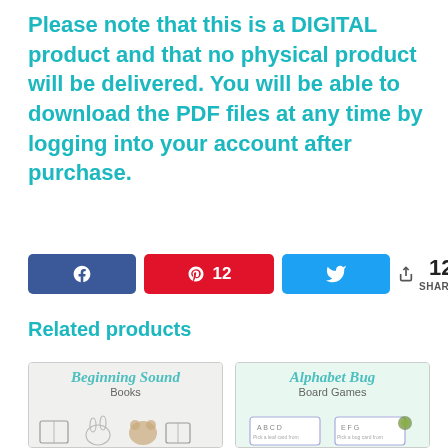Please note that this is a DIGITAL product and that no physical product will be delivered. You will be able to download the PDF files at any time by logging into your account after purchase.
[Figure (infographic): Social share bar with Facebook, Pinterest (12 shares), Twitter buttons and share count showing 12 SHARES]
Related products
[Figure (illustration): Beginning Sound Books product card thumbnail]
[Figure (illustration): Alphabet Bug Board Games product card thumbnail]